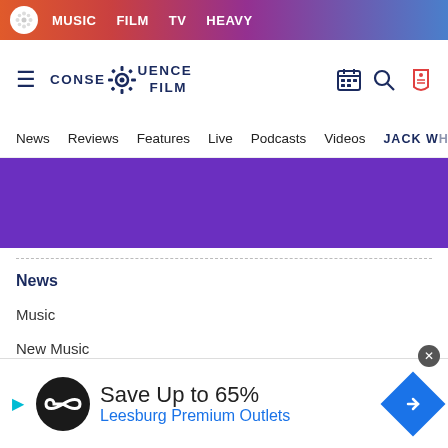MUSIC  FILM  TV  HEAVY
[Figure (logo): Consequence Film logo with gear/sprocket icon]
News  Reviews  Features  Live  Podcasts  Videos  JACK WH...
[Figure (other): Purple advertisement banner]
News
Music
New Music
Album Streams
[Figure (infographic): Advertisement: Save Up to 65% Leesburg Premium Outlets]